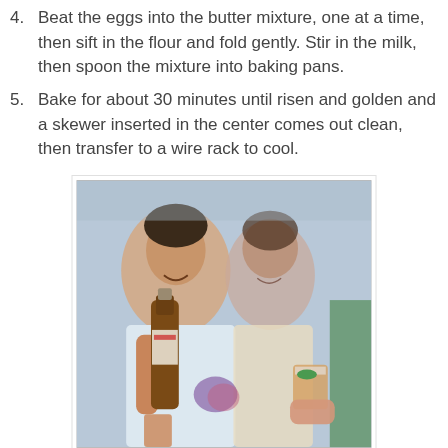4. Beat the eggs into the butter mixture, one at a time, then sift in the flour and fold gently. Stir in the milk, then spoon the mixture into baking pans.
5. Bake for about 30 minutes until risen and golden and a skewer inserted in the center comes out clean, then transfer to a wire rack to cool.
[Figure (photo): People at an outdoor gathering, a man pouring from a brown beer bottle into a glass, with people smiling in background]